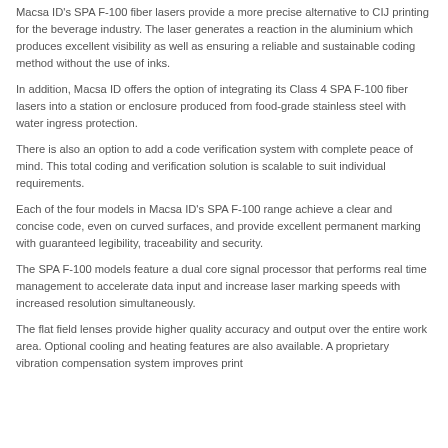Macsa ID's SPA F-100 fiber lasers provide a more precise alternative to CIJ printing for the beverage industry. The laser generates a reaction in the aluminium which produces excellent visibility as well as ensuring a reliable and sustainable coding method without the use of inks.
In addition, Macsa ID offers the option of integrating its Class 4 SPA F-100 fiber lasers into a station or enclosure produced from food-grade stainless steel with water ingress protection.
There is also an option to add a code verification system with complete peace of mind. This total coding and verification solution is scalable to suit individual requirements.
Each of the four models in Macsa ID's SPA F-100 range achieve a clear and concise code, even on curved surfaces, and provide excellent permanent marking with guaranteed legibility, traceability and security.
The SPA F-100 models feature a dual core signal processor that performs real time management to accelerate data input and increase laser marking speeds with increased resolution simultaneously.
The flat field lenses provide higher quality accuracy and output over the entire work area. Optional cooling and heating features are also available. A proprietary vibration compensation system improves print